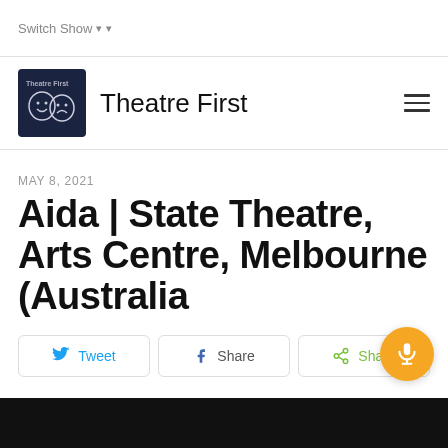Switch Show
Theatre First
MAY 8, 2021
Aida | State Theatre, Arts Centre, Melbourne (Australia
Tweet
Share
Share
[Figure (screenshot): Dark image strip at bottom of page]